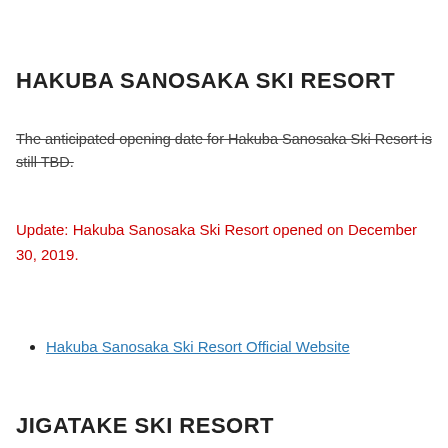HAKUBA SANOSAKA SKI RESORT
The anticipated opening date for Hakuba Sanosaka Ski Resort is still TBD.
Update: Hakuba Sanosaka Ski Resort opened on December 30, 2019.
Hakuba Sanosaka Ski Resort Official Website
JIGATAKE SKI RESORT